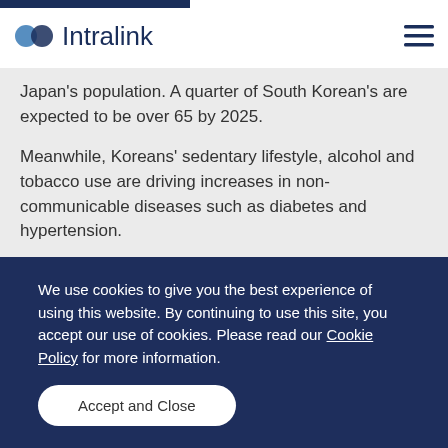Intralink
Japan's population. A quarter of South Korean's are expected to be over 65 by 2025.
Meanwhile, Koreans' sedentary lifestyle, alcohol and tobacco use are driving increases in non-communicable diseases such as diabetes and hypertension.
To combat these trends and establish the country as a leader in the biomedical field, the South Korean government has announced strong support for clinical trials, biopharmaceuticals and AI in
We use cookies to give you the best experience of using this website. By continuing to use this site, you accept our use of cookies. Please read our Cookie Policy for more information.
Accept and Close